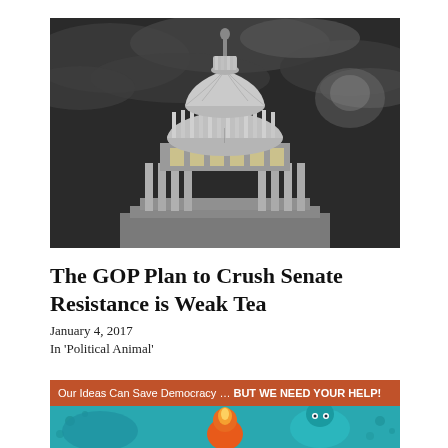[Figure (photo): Black and white dramatic photograph of the US Capitol building dome shot from below against a stormy, cloudy sky]
The GOP Plan to Crush Senate Resistance is Weak Tea
January 4, 2017
In 'Political Animal'
[Figure (illustration): Banner with orange-brown background reading 'Our Ideas Can Save Democracy ... BUT WE NEED YOUR HELP!' followed by a colorful illustration of cartoon characters in teal/blue with an orange flame figure]